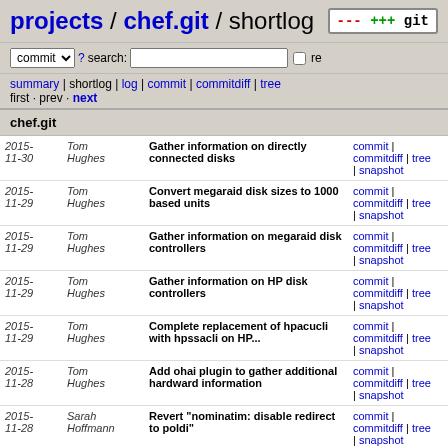projects / chef.git / shortlog
commit  ? search:   re
summary | shortlog | log | commit | commitdiff | tree
first · prev · next
chef.git
| Date | Author | Message | Links |
| --- | --- | --- | --- |
| 2015-11-30 | Tom Hughes | Gather information on directly connected disks | commit | commitdiff | tree | snapshot |
| 2015-11-29 | Tom Hughes | Convert megaraid disk sizes to 1000 based units | commit | commitdiff | tree | snapshot |
| 2015-11-29 | Tom Hughes | Gather information on megaraid disk controllers | commit | commitdiff | tree | snapshot |
| 2015-11-29 | Tom Hughes | Gather information on HP disk controllers | commit | commitdiff | tree | snapshot |
| 2015-11-29 | Tom Hughes | Complete replacement of hpacucli with hpssacli on HP... | commit | commitdiff | tree | snapshot |
| 2015-11-28 | Tom Hughes | Add ohai plugin to gather additional hardward information | commit | commitdiff | tree | snapshot |
| 2015-11-28 | Sarah Hoffmann | Revert "nominatim: disable redirect to poldi" | commit | commitdiff | tree | snapshot |
| 2015-11-27 | Sarah Hoffmann | nominatim: disable redirect to poldi | commit | commitdiff | tree | snapshot |
| 2015-11-?? | Tom Hughes | Add internal interface details for ... | commit | commitdiff | tree |